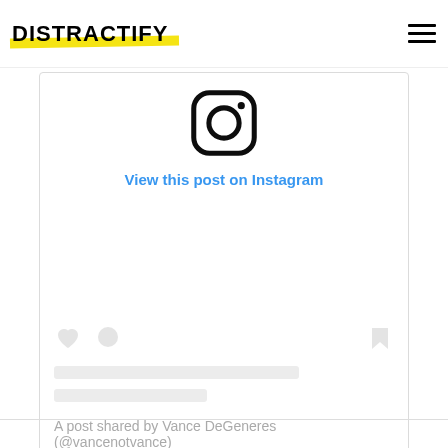DISTRACTIFY
[Figure (screenshot): Instagram embed card showing the Instagram logo icon, 'View this post on Instagram' link in blue, skeleton loading placeholder icons (heart, comment, bookmark), two gray placeholder bars, and the attribution text 'A post shared by Vance DeGeneres (@vancenotvance)']
A post shared by Vance DeGeneres (@vancenotvance)